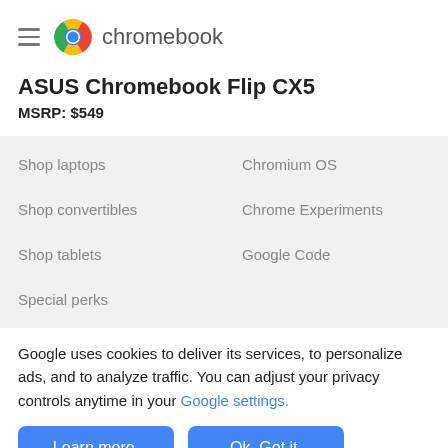chromebook
ASUS Chromebook Flip CX5
MSRP: $549
Shop laptops
Chromium OS
Shop convertibles
Chrome Experiments
Shop tablets
Google Code
Special perks
Google uses cookies to deliver its services, to personalize ads, and to analyze traffic. You can adjust your privacy controls anytime in your Google settings.